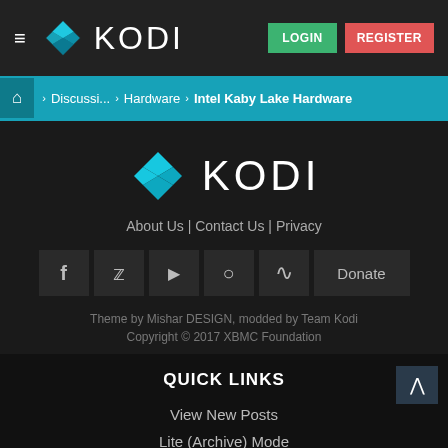KODI — LOGIN | REGISTER
Home > Discussi... > Hardware > Intel Kaby Lake Hardware
[Figure (logo): Kodi logo with diamond icon and KODI wordmark in white on dark background]
About Us | Contact Us | Privacy
f  t  YouTube  GitHub  RSS  Donate
Theme by Mishar DESIGN, modded by Team Kodi
Copyright © 2017 XBMC Foundation
QUICK LINKS
View New Posts
Lite (Archive) Mode